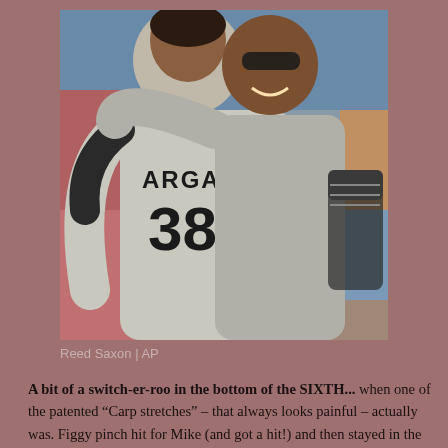[Figure (photo): Two baseball players hugging/embracing on the field. The player facing away from the camera wears a gray jersey with 'ARGAS' and number 38 visible. The other player is wearing sunglasses and smiling.]
Reed Saxon | AP
A bit of a switch-er-roo in the bottom of the SIXTH... when one of the patented “Carp stretches” – that always looks painful – actually was. Figgy pinch hit for Mike (and got a hit!) and then stayed in the game at 3B. Seager